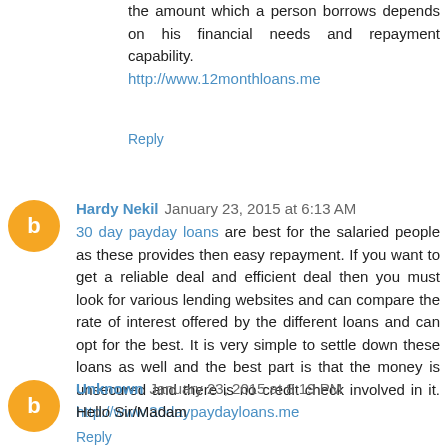the amount which a person borrows depends on his financial needs and repayment capability. http://www.12monthloans.me
Reply
Hardy Nekil  January 23, 2015 at 6:13 AM
30 day payday loans are best for the salaried people as these provides then easy repayment. If you want to get a reliable deal and efficient deal then you must look for various lending websites and can compare the rate of interest offered by the different loans and can opt for the best. It is very simple to settle down these loans as well and the best part is that the money is unsecured and there is no credit check involved in it. http://www.30daypaydayloans.me
Reply
Unknown  January 23, 2015 at 8:19 PM
Hello Sir/Madam